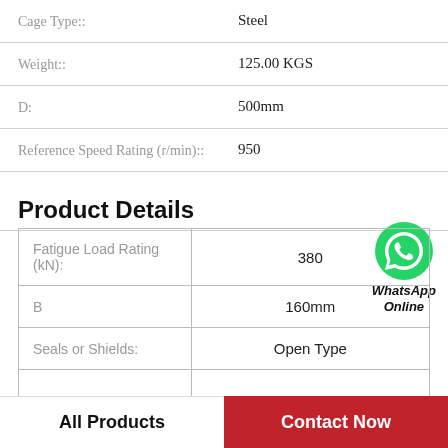| Property | Value |
| --- | --- |
| Cage Type:: | Steel |
| Weight:: | 125.00 KGS |
| D: | 500mm |
| Reference Speed Rating (r/min):: | 950 |
Product Details
[Figure (logo): WhatsApp Online green phone icon with label]
| Property | Value |
| --- | --- |
| Fatigue Load Rating (kN): | 380 |
| B | 160mm |
| Seals or Shields: | Open Type |
All Products
Contact Now